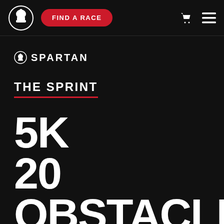FIND A RACE
[Figure (logo): Spartan helmet logo and SPARTAN wordmark]
THE SPRINT
5K
20 OBSTACLES